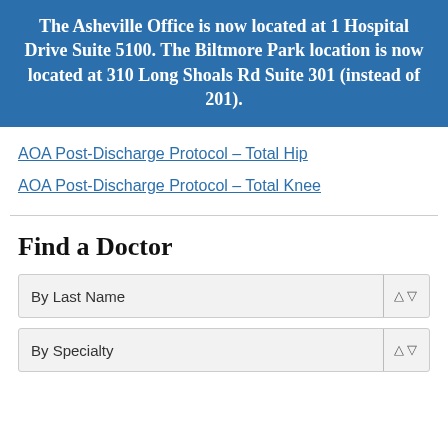The Asheville Office is now located at 1 Hospital Drive Suite 5100. The Biltmore Park location is now located at 310 Long Shoals Rd Suite 301 (instead of 201).
AOA Post-Discharge Protocol – Total Hip
AOA Post-Discharge Protocol – Total Knee
Find a Doctor
By Last Name
By Specialty